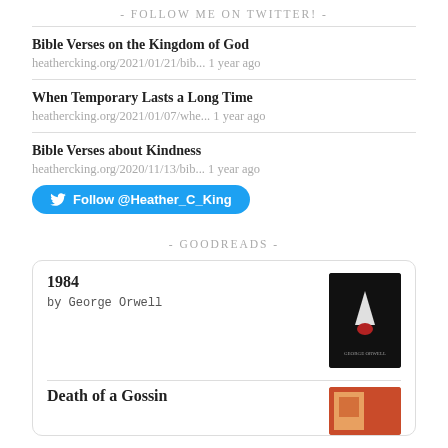- FOLLOW ME ON TWITTER! -
Bible Verses on the Kingdom of God
heathercking.org/2021/01/21/bib... 1 year ago
When Temporary Lasts a Long Time
heathercking.org/2021/01/07/whe... 1 year ago
Bible Verses about Kindness
heathercking.org/2020/11/13/bib... 1 year ago
Follow @Heather_C_King
- GOODREADS -
1984
by George Orwell
Death of a Gossin